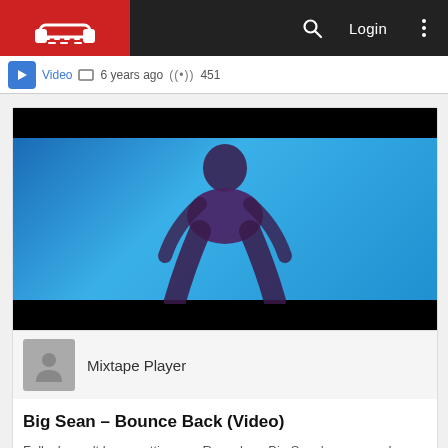Mixtape Player app navigation bar with logo, search, Login, and menu icons
Video  6 years ago  (•) 451
[Figure (screenshot): Video thumbnail showing a music video still against a blue background with dark bars top and bottom]
Mixtape Player
Big Sean – Bounce Back (Video)
Folks haven't been putting any Respek on Big Sean's name and